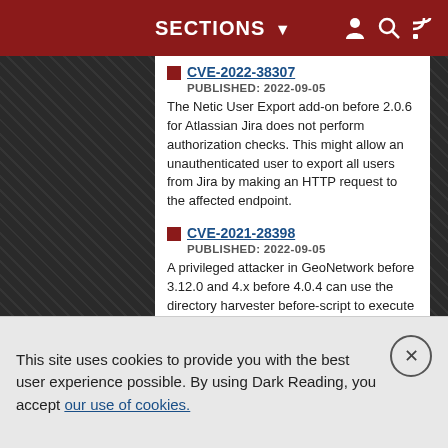SECTIONS ▼
CVE-2022-38307
PUBLISHED: 2022-09-05
The Netic User Export add-on before 2.0.6 for Atlassian Jira does not perform authorization checks. This might allow an unauthenticated user to export all users from Jira by making an HTTP request to the affected endpoint.
CVE-2021-28398
PUBLISHED: 2022-09-05
A privileged attacker in GeoNetwork before 3.12.0 and 4.x before 4.0.4 can use the directory harvester before-script to execute arbitrary OS commands remotely on the hosting infrastructure. A User Administrator or Administrator account is required to perform this. This occurs in the runBeforeScript ...
CVE-2022-30331
PUBLISHED: 2022-09-05
** DISPUTED ** The User-Defined Functions
This site uses cookies to provide you with the best user experience possible. By using Dark Reading, you accept our use of cookies.